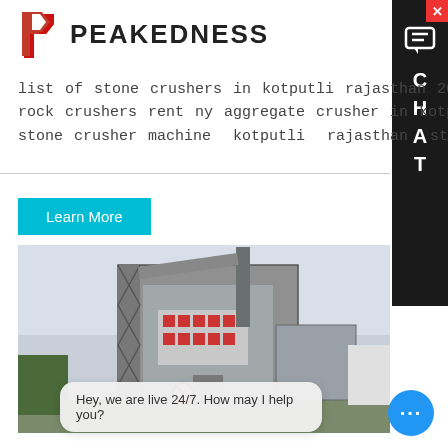[Figure (logo): Peakedness company logo with red arrow/P icon and bold black PEAKEDNESS text]
list of stone crushers in kotputli rajasthan 20191126 rock crushers rent ny aggregate crusher in kotputli stone crusher machine kotputli rajasthan sto…
Learn More
[Figure (photo): Industrial asphalt mixing plant / machinery tower structure with steel scaffolding and large enclosed hoppers, photographed from ground level against a cloudy sky]
Hey, we are live 24/7. How may I help you?